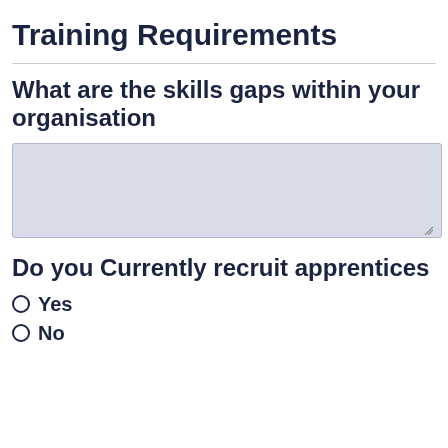Training Requirements
What are the skills gaps within your organisation
[Figure (other): Empty textarea input field with light blue-grey background for user text entry]
Do you Currently recruit apprentices
Yes
No